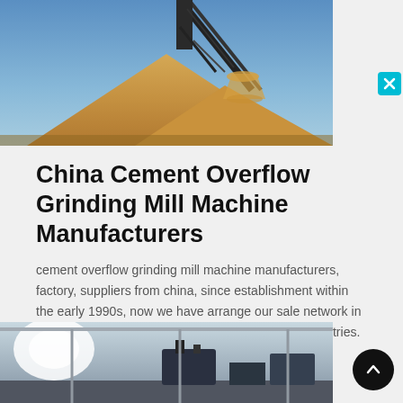[Figure (photo): Industrial conveyor belt delivering sand or aggregate material onto a large pile, against a blue sky background.]
China Cement Overflow Grinding Mill Machine Manufacturers
cement overflow grinding mill machine manufacturers, factory, suppliers from china, since establishment within the early 1990s, now we have arrange our sale network in usa, germany, asia, and several middle eastern countries. we intention to get a top
Inquire Now
[Figure (photo): Interior of an industrial factory or workshop with machinery and equipment.]